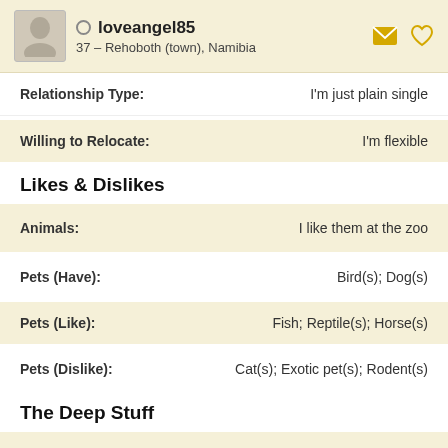loveangel85 — 37 – Rehoboth (town), Namibia
Relationship Type: I'm just plain single
Willing to Relocate: I'm flexible
Likes & Dislikes
Animals: I like them at the zoo
Pets (Have): Bird(s); Dog(s)
Pets (Like): Fish; Reptile(s); Horse(s)
Pets (Dislike): Cat(s); Exotic pet(s); Rodent(s)
The Deep Stuff